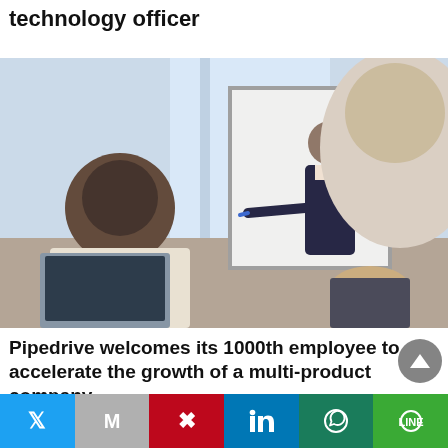technology officer
[Figure (photo): Business meeting photo: a woman in a dark suit stands at a whiteboard presenting, with two people seated in the foreground viewing her presentation.]
Pipedrive welcomes its 1000th employee to accelerate the growth of a multi-product company
Social sharing bar with Twitter, Gmail, Pinterest, LinkedIn, WhatsApp, Line buttons